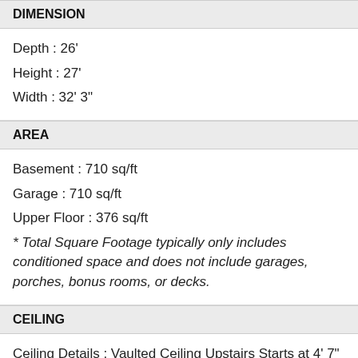DIMENSION
Depth : 26'
Height : 27'
Width : 32' 3"
AREA
Basement : 710 sq/ft
Garage : 710 sq/ft
Upper Floor : 376 sq/ft
* Total Square Footage typically only includes conditioned space and does not include garages, porches, bonus rooms, or decks.
CEILING
Ceiling Details : Vaulted Ceiling Upstairs Starts at 4' 7" Tall to 12' 9"
Garage Ceiling : 10'
Lower Ceiling : 8'